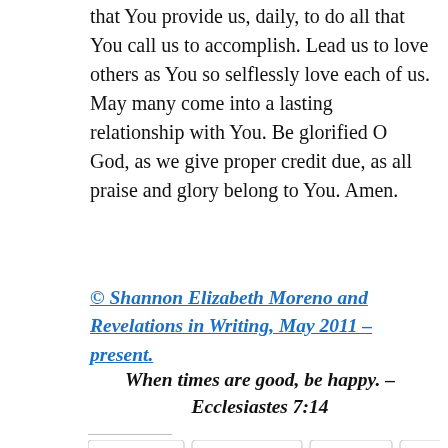the remarkable grace, strength and supply that You provide us, daily, to do all that You call us to accomplish. Lead us to love others as You so selflessly love each of us. May many come into a lasting relationship with You. Be glorified O God, as we give proper credit due, as all praise and glory belong to You. Amen.
© Shannon Elizabeth Moreno and Revelations in Writing, May 2011 – present.
When times are good, be happy. – Ecclesiastes 7:14
[Figure (other): Social share buttons: Twitter, Facebook, Email, LinkedIn, Pinterest, More]